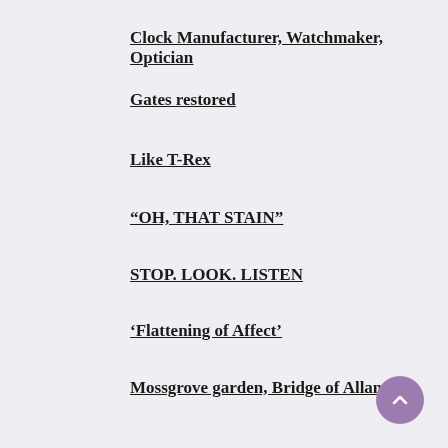Clock Manufacturer, Watchmaker, Optician
Gates restored
Like T-Rex
“OH, THAT STAIN”
STOP. LOOK. LISTEN
‘Flattening of Affect’
Mossgrove garden, Bridge of Allan
more or less
My post-medical landscape